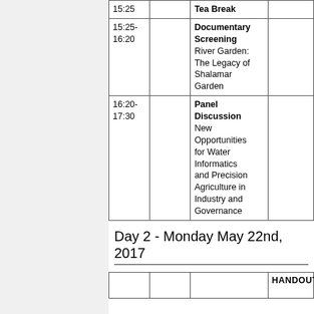| Time |  | Session | Handouts |
| --- | --- | --- | --- |
| 15:25 |  | Tea Break |  |
| 15:25-16:20 |  | Documentary Screening
River Garden: The Legacy of Shalamar Garden |  |
| 16:20-17:30 |  | Panel Discussion
New Opportunities for Water Informatics and Precision Agriculture in Industry and Governance |  |
Day 2 - Monday May 22nd, 2017
|  |  |  | HANDOUTS |
| --- | --- | --- | --- |